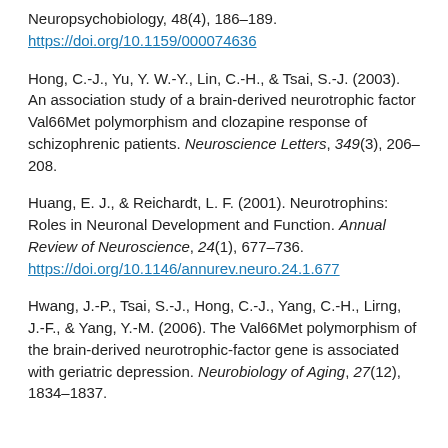Neuropsychobiology, 48(4), 186–189. https://doi.org/10.1159/000074636
Hong, C.-J., Yu, Y. W.-Y., Lin, C.-H., & Tsai, S.-J. (2003). An association study of a brain-derived neurotrophic factor Val66Met polymorphism and clozapine response of schizophrenic patients. Neuroscience Letters, 349(3), 206–208.
Huang, E. J., & Reichardt, L. F. (2001). Neurotrophins: Roles in Neuronal Development and Function. Annual Review of Neuroscience, 24(1), 677–736. https://doi.org/10.1146/annurev.neuro.24.1.677
Hwang, J.-P., Tsai, S.-J., Hong, C.-J., Yang, C.-H., Lirng, J.-F., & Yang, Y.-M. (2006). The Val66Met polymorphism of the brain-derived neurotrophic-factor gene is associated with geriatric depression. Neurobiology of Aging, 27(12), 1834–1837.